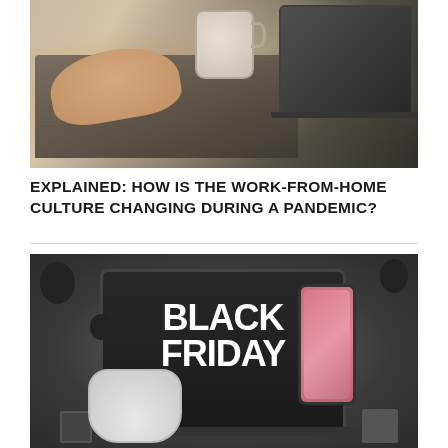[Figure (photo): Person typing on a laptop keyboard with a floral mug beside it, photographed from above on a wooden desk]
EXPLAINED: HOW IS THE WORK-FROM-HOME CULTURE CHANGING DURING A PANDEMIC?
[Figure (photo): Black Friday promotional image showing a laptop with 'BLACK FRIDAY' text on screen, alongside AirPods and an iPhone on a dark grey background with balloons and gift boxes]